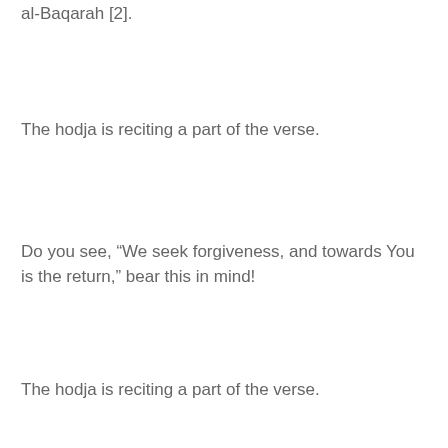al-Baqarah [2].
The hodja is reciting a part of the verse.
Do you see, “We seek forgiveness, and towards You is the return,” bear this in mind!
The hodja is reciting a part of the verse.